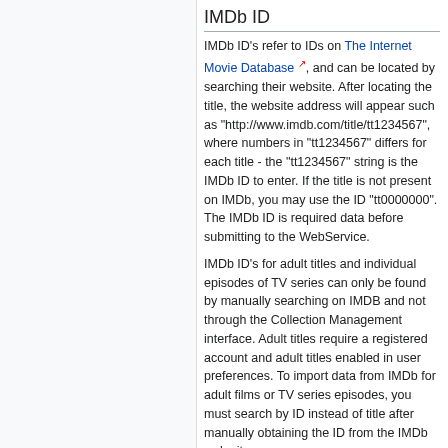IMDb ID
IMDb ID's refer to IDs on The Internet Movie Database, and can be located by searching their website. After locating the title, the website address will appear such as "http://www.imdb.com/title/tt1234567", where numbers in "tt1234567" differs for each title - the "tt1234567" string is the IMDb ID to enter. If the title is not present on IMDb, you may use the ID "tt0000000". The IMDb ID is required data before submitting to the WebService.
IMDb ID's for adult titles and individual episodes of TV series can only be found by manually searching on IMDB and not through the Collection Management interface. Adult titles require a registered account and adult titles enabled in user preferences. To import data from IMDb for adult films or TV series episodes, you must search by ID instead of title after manually obtaining the ID from the IMDb web site.
Box Sets: IMDb ID shall be set to "tt0000000".
Media Type
Media Type describes the general content of t